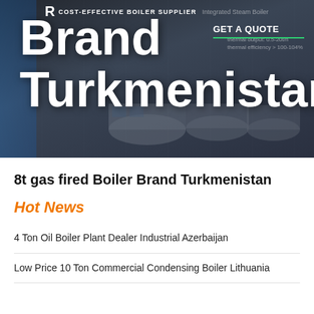[Figure (photo): Hero banner showing industrial steam boilers with dark overlay. Text overlaid: COST-EFFECTIVE BOILER SUPPLIER, Integrated Steam Boiler, Brand Turkmenistan, GET A QUOTE with green underline, thermal efficiency specs.]
8t gas fired Boiler Brand Turkmenistan
Hot News
4 Ton Oil Boiler Plant Dealer Industrial Azerbaijan
Low Price 10 Ton Commercial Condensing Boiler Lithuania